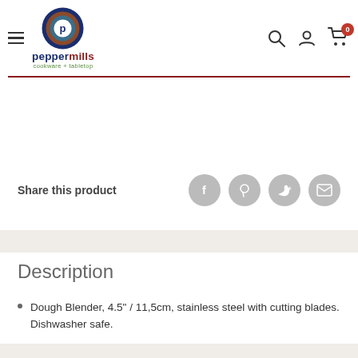peppermills cookware + tabletop
Share this product
Description
Dough Blender, 4.5" / 11,5cm, stainless steel with cutting blades. Dishwasher safe.